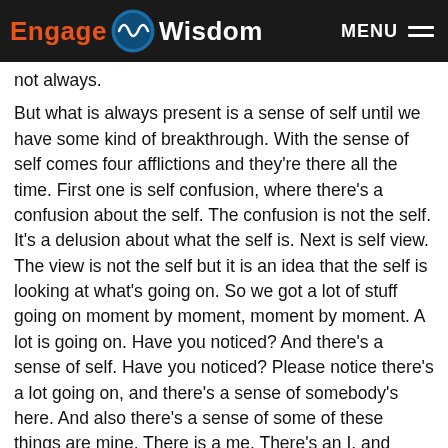Engage Wisdom — MENU
not always.
But what is always present is a sense of self until we have some kind of breakthrough. With the sense of self comes four afflictions and they're there all the time. First one is self confusion, where there's a confusion about the self. The confusion is not the self. It's a delusion about what the self is. Next is self view. The view is not the self but it is an idea that the self is looking at what's going on. So we got a lot of stuff going on moment by moment, moment by moment. A lot is going on. Have you noticed? And there's a sense of self. Have you noticed? Please notice there's a lot going on, and there's a sense of somebody's here. And also there's a sense of some of these things are mine. There is a me. There's an I, and